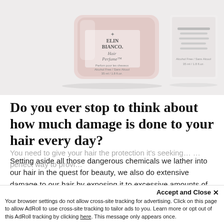[Figure (photo): Product photo of Elin Bianco Hair Perfume bottle and box, pink/rose frosted glass bottle on left, white box packaging on right, on light gray background]
Do you ever stop to think about how much damage is done to your hair every day?
Setting aside all those dangerous chemicals we lather into our hair in the quest for beauty, we also do extensive damage to our hair by exposing it to excessive amounts of sunlight. So what’s the solution?
You need to give your hair the protection it’s seeking…
Accept and Close ×
Your browser settings do not allow cross-site tracking for advertising. Click on this page to allow AdRoll to use cross-site tracking to tailor ads to you. Learn more or opt out of this AdRoll tracking by clicking here. This message only appears once.